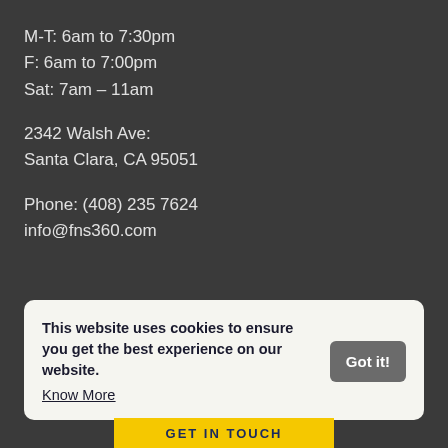M-T: 6am to 7:30pm
F: 6am to 7:00pm
Sat: 7am – 11am
2342 Walsh Ave:
Santa Clara, CA 95051
Phone: (408) 235 7624
info@fns360.com
This website uses cookies to ensure you get the best experience on our website. Know More
Got it!
GET IN TOUCH